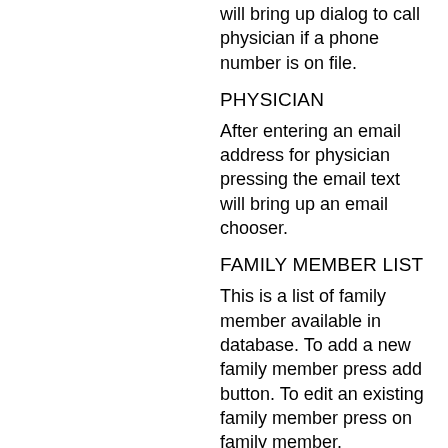will bring up dialog to call physician if a phone number is on file.
PHYSICIAN
After entering an email address for physician pressing the email text will bring up an email chooser.
FAMILY MEMBER LIST
This is a list of family member available in database. To add a new family member press add button. To edit an existing family member press on family member.
FAMILY MEMBER
This allow for recording basic information about a family member. Use SAVE button on action bar to add or update to